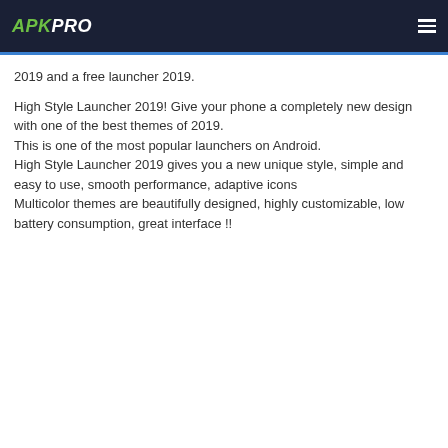APKPRO
2019 and a free launcher 2019.

High Style Launcher 2019! Give your phone a completely new design with one of the best themes of 2019.
This is one of the most popular launchers on Android.
High Style Launcher 2019 gives you a new unique style, simple and easy to use, smooth performance, adaptive icons
Multicolor themes are beautifully designed, highly customizable, low battery consumption, great interface !!